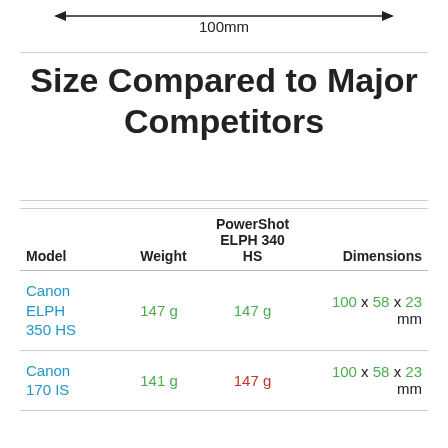[Figure (engineering-diagram): Horizontal double-headed arrow labeled 100mm indicating a width measurement]
Size Compared to Major Competitors
| Model | Weight | PowerShot ELPH 340 HS | Dimensions |
| --- | --- | --- | --- |
| Canon ELPH 350 HS | 147 g | 147 g | 100 x 58 x 23 mm |
| Canon 170 IS | 141 g | 147 g | 100 x 58 x 23 mm |